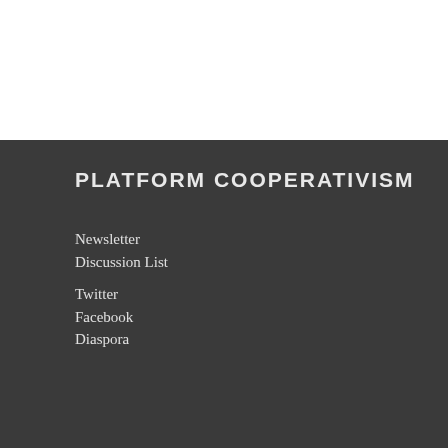PLATFORM COOPERATIVISM
Newsletter
Discussion List
Twitter
Facebook
Diaspora